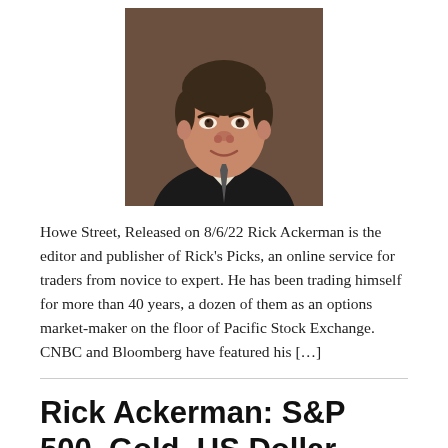[Figure (photo): Headshot of Rick Ackerman, a middle-aged man with dark hair wearing a suit and tie, photographed against a warm brown background.]
Howe Street, Released on 8/6/22 Rick Ackerman is the editor and publisher of Rick's Picks, an online service for traders from novice to expert. He has been trading himself for more than 40 years, a dozen of them as an options market-maker on the floor of Pacific Stock Exchange. CNBC and Bloomberg have featured his […]
Rick Ackerman: S&P 500, Gold, US Dollar, Interest